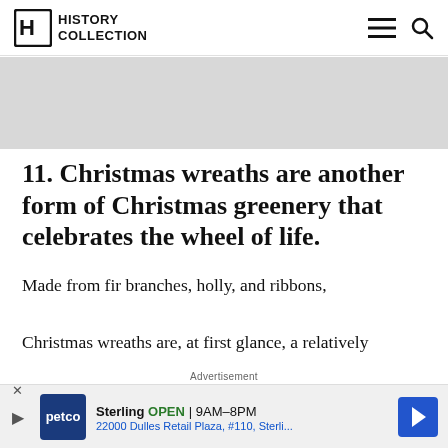History Collection — navigation bar with logo, hamburger menu and search icon
[Figure (other): Gray banner/advertisement placeholder area]
11. Christmas wreaths are another form of Christmas greenery that celebrates the wheel of life.
Made from fir branches, holly, and ribbons, Christmas wreaths are, at first glance, a relatively late addition to the range of natural Christmas
Advertisement
[Figure (other): Petco advertisement banner: Sterling OPEN 9AM-8PM, 22000 Dulles Retail Plaza, #110, Sterli...]